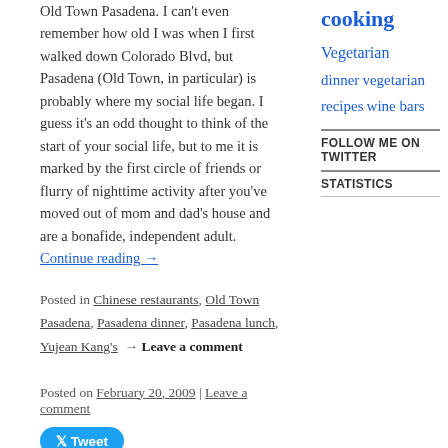Old Town Pasadena. I can't even remember how old I was when I first walked down Colorado Blvd, but Pasadena (Old Town, in particular) is probably where my social life began. I guess it's an odd thought to think of the start of your social life, but to me it is marked by the first circle of friends or flurry of nighttime activity after you've moved out of mom and dad's house and are a bonafide, independent adult. Continue reading →
Posted in Chinese restaurants, Old Town Pasadena, Pasadena dinner, Pasadena lunch, Yujean Kang's → Leave a comment
Posted on February 20, 2009 | Leave a comment
Tweet
The Little Flower Candy Co. –
cooking Vegetarian dinner vegetarian recipes wine bars
FOLLOW ME ON TWITTER
STATISTICS